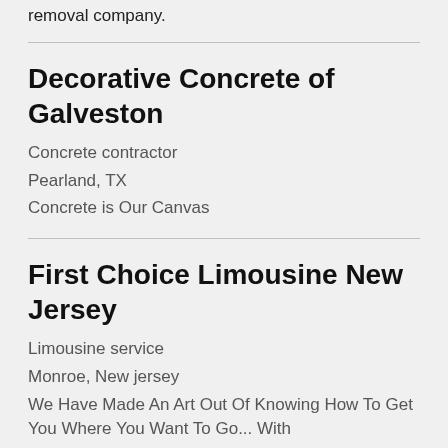removal company.
Decorative Concrete of Galveston
Concrete contractor
Pearland, TX
Concrete is Our Canvas
First Choice Limousine New Jersey
Limousine service
Monroe, New jersey
We Have Made An Art Out Of Knowing How To Get You Where You Want To Go... With